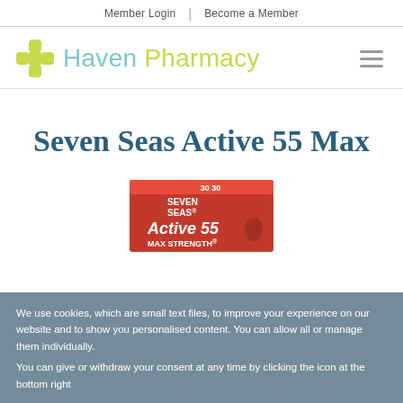Member Login | Become a Member
[Figure (logo): Haven Pharmacy logo with yellow-green cross icon and teal/lime text]
Seven Seas Active 55 Max
[Figure (photo): Product box of Seven Seas Active 55 Max with red packaging showing 30+30 tablets]
We use cookies, which are small text files, to improve your experience on our website and to show you personalised content. You can allow all or manage them individually.
You can give or withdraw your consent at any time by clicking the icon at the bottom right